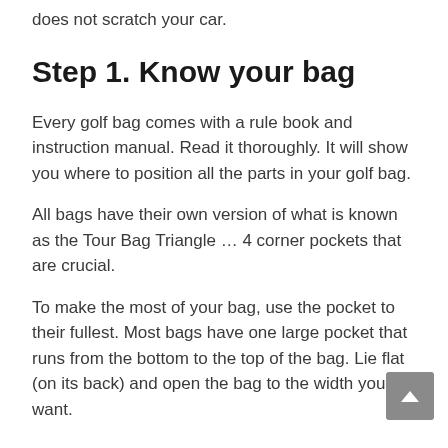does not scratch your car.
Step 1. Know your bag
Every golf bag comes with a rule book and instruction manual. Read it thoroughly. It will show you where to position all the parts in your golf bag.
All bags have their own version of what is known as the Tour Bag Triangle … 4 corner pockets that are crucial.
To make the most of your bag, use the pocket to their fullest. Most bags have one large pocket that runs from the bottom to the top of the bag. Lie flat (on its back) and open the bag to the width you want.